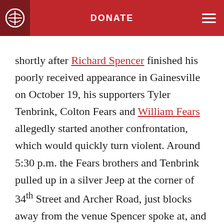DONATE
Shortly after Richard Spencer finished his poorly received appearance in Gainesville on October 19, his supporters Tyler Tenbrink, Colton Fears and William Fears allegedly started another confrontation, which would quickly turn violent. Around 5:30 p.m. the Fears brothers and Tenbrink pulled up in a silver Jeep at the corner of 34th Street and Archer Road, just blocks away from the venue Spencer spoke at, and struck up an argument with a group of protesters. Witnesses said the trio became belligerent, throwing out Nazi salutes and praising Adolf Hitler. Then the Fears brothers,